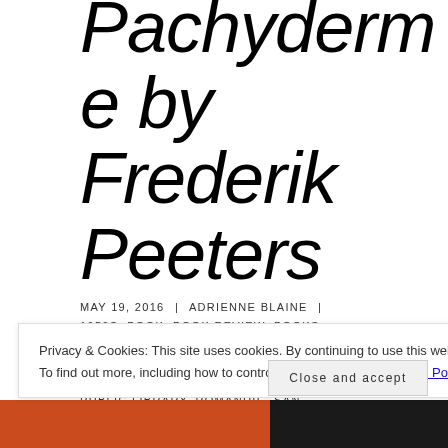Pachyderme by Frederik Peeters
MAY 19, 2016 | ADRIENNE BLAINE | 1950S, BOOK, BOOK REVIEW, BOOKS, CARTOONIST, FRANCE, FREDERIK PEETERS, FRENCH, GRAPHIC NOVEL, JEAN GIRAUD, MOEBIUS, POST WWII, PUBLIC LIBRARY, ROMANDIE, SAN
Privacy & Cookies: This site uses cookies. By continuing to use this website, you agree to their use. To find out more, including how to control cookies, see here: Cookie Policy
Close and accept